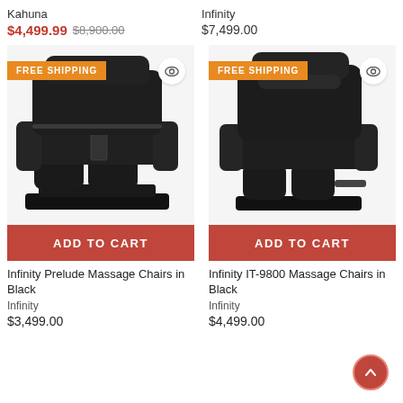Kahuna
$4,499.99  $8,900.00
Infinity
$7,499.00
[Figure (photo): Black Infinity Prelude massage chair with FREE SHIPPING badge]
[Figure (photo): Black Infinity IT-9800 massage chair with FREE SHIPPING badge]
ADD TO CART
ADD TO CART
Infinity Prelude Massage Chairs in Black
Infinity
$3,499.00
Infinity IT-9800 Massage Chairs in Black
Infinity
$4,499.00